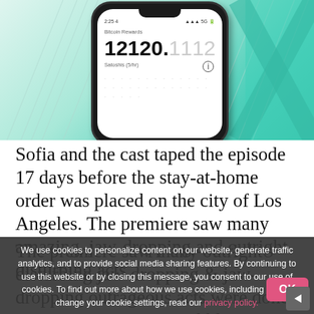[Figure (screenshot): Smartphone showing a Bitcoin Rewards app with balance 12120.1112 Satoshis (5/hr). The phone has a dark frame with a teal/mint green background with rain diagonal lines.]
Sofia and the cast taped the episode 17 days before the stay-at-home order was placed on the city of Los Angeles. The premiere saw many amazing, jaw-dropping and outright disturbing acts
We use cookies to personalize content on our website, generate traffic analytics, and to provide social media sharing features. By continuing to use this website or by closing this message, you consent to our use of cookies. To find out more about how we use cookies, including how to change your cookie settings, read our privacy policy.